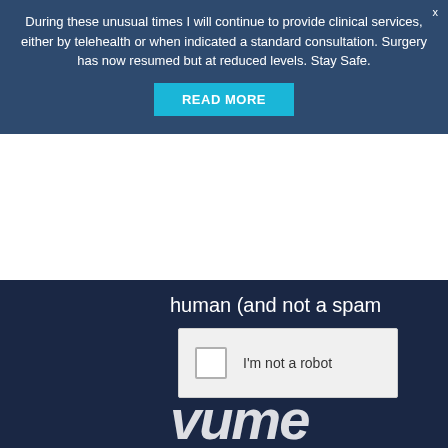During these unusual times I will continue to provide clinical services, either by telehealth or when indicated a standard consultation. Surgery has now resumed but at reduced levels. Stay Safe.
READ MORE
human (and not a spam
[Figure (screenshot): CAPTCHA widget showing a checkbox with 'I'm not a robot' label, on a dark navy background, with partial text 'vume' visible at the bottom]